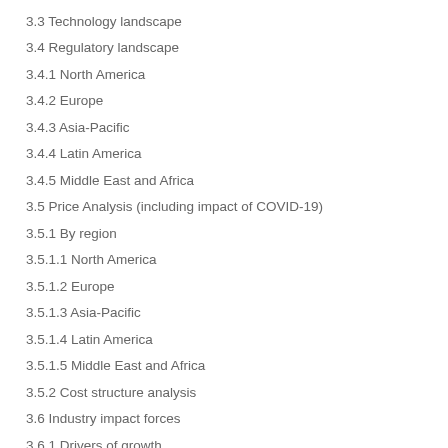3.3 Technology landscape
3.4 Regulatory landscape
3.4.1 North America
3.4.2 Europe
3.4.3 Asia-Pacific
3.4.4 Latin America
3.4.5 Middle East and Africa
3.5 Price Analysis (including impact of COVID-19)
3.5.1 By region
3.5.1.1 North America
3.5.1.2 Europe
3.5.1.3 Asia-Pacific
3.5.1.4 Latin America
3.5.1.5 Middle East and Africa
3.5.2 Cost structure analysis
3.6 Industry impact forces
3.6.1 Drivers of growth
3.6.2 Industry Disadvantages and Challenges
3.6.3.1 ...